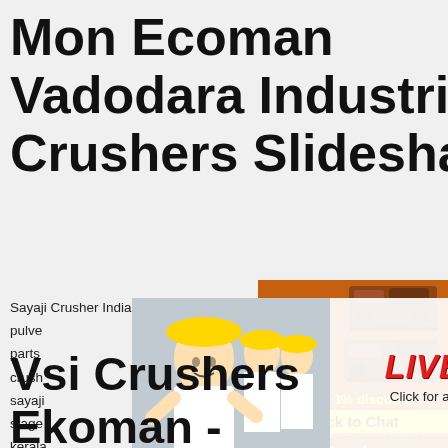Mon Ecoman Vadodara Industrial Crushers Slideshare
Sayaji Crusher India Kerala Address. Apr pulve parts crush sayaji stage kerala manufacturers suppliers in india and abroad
[Figure (screenshot): Live chat popup with people wearing hard hats, red LIVE CHAT text, Click for a Free Consultation, Chat now and Chat later buttons]
[Figure (infographic): Orange sidebar advertisement with crusher machine images, Enjoy 3% discount, Click to Chat, Enquiry, limingjlmofen@sina.com]
Vsi Crushers Ekoman - westernriverranch-